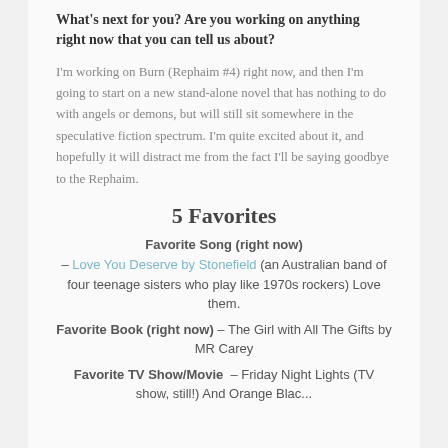What's next for you? Are you working on anything right now that you can tell us about?
I'm working on Burn (Rephaim #4) right now, and then I'm going to start on a new stand-alone novel that has nothing to do with angels or demons, but will still sit somewhere in the speculative fiction spectrum. I'm quite excited about it, and hopefully it will distract me from the fact I'll be saying goodbye to the Rephaim.
5 Favorites
Favorite Song (right now)
– Love You Deserve by Stonefield (an Australian band of four teenage sisters who play like 1970s rockers) Love them.
Favorite Book (right now) – The Girl with All The Gifts by MR Carey
Favorite TV Show/Movie – Friday Night Lights (TV show, still!) And Orange Black...